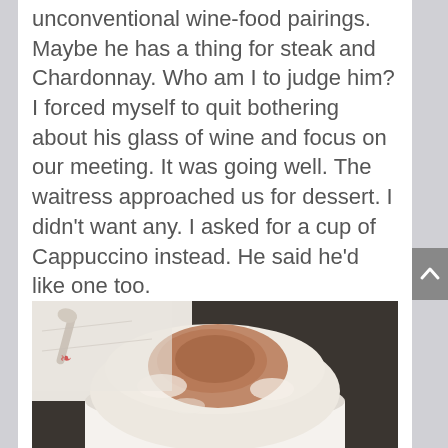unconventional wine-food pairings. Maybe he has a thing for steak and Chardonnay. Who am I to judge him? I forced myself to quit bothering about his glass of wine and focus on our meeting. It was going well. The waitress approached us for dessert. I didn't want any. I asked for a cup of Cappuccino instead. He said he'd like one too.
[Figure (photo): A close-up photo of a cappuccino in a white cup on a white saucer, with a large dome of foamed milk dusted with cocoa powder or cinnamon. A spoon is visible in the upper left background.]